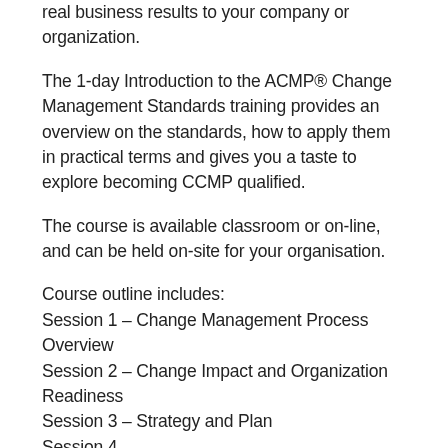real business results to your company or organization.
The 1-day Introduction to the ACMP® Change Management Standards training provides an overview on the standards, how to apply them in practical terms and gives you a taste to explore becoming CCMP qualified.
The course is available classroom or on-line, and can be held on-site for your organisation.
Course outline includes:
Session 1 – Change Management Process Overview
Session 2 – Change Impact and Organization Readiness
Session 3 – Strategy and Plan
Session 4 –